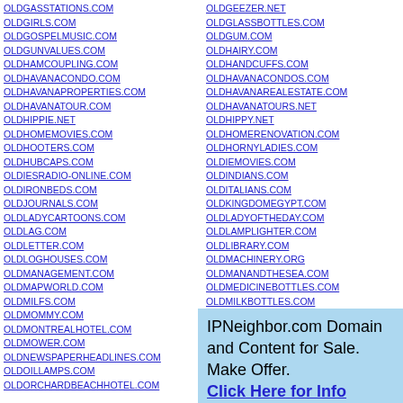OLDGASSTATIONS.COM
OLDGIRLS.COM
OLDGOSPELMUSIC.COM
OLDGUNVALUES.COM
OLDHAMCOUPLING.COM
OLDHAVANACONDO.COM
OLDHAVANAPROPERTIES.COM
OLDHAVANATOUR.COM
OLDHIPPIE.NET
OLDHOMEMOVIES.COM
OLDHOOTERS.COM
OLDHUBCAPS.COM
OLDIESRADIO-ONLINE.COM
OLDIRONBEDS.COM
OLDJOURNALS.COM
OLDLADYCARTOONS.COM
OLDLAG.COM
OLDLETTER.COM
OLDLOGHOUSES.COM
OLDMANAGEMENT.COM
OLDMAPWORLD.COM
OLDMILFS.COM
OLDMOMMY.COM
OLDMONTREALHOTEL.COM
OLDMOWER.COM
OLDNEWSPAPERHEADLINES.COM
OLDOILLAMPS.COM
OLDORCHARDBEACHHOTEL.COM
OLDGEEZER.NET
OLDGLASSBOTTLES.COM
OLDGUM.COM
OLDHAIRY.COM
OLDHANDCUFFS.COM
OLDHAVANACONDOS.COM
OLDHAVANAREALESTATE.COM
OLDHAVANATOURS.NET
OLDHIPPY.NET
OLDHOMERENOVATION.COM
OLDHORNYLADIES.COM
OLDIEMOVIES.COM
OLDINDIANS.COM
OLDITALIANS.COM
OLDKINGDOMEGYPT.COM
OLDLADYOFTHEDAY.COM
OLDLAMPLIGHTER.COM
OLDLIBRARY.COM
OLDMACHINERY.ORG
OLDMANANDTHESEA.COM
OLDMEDICINEBOTTLES.COM
OLDMILKBOTTLES.COM
OLDMONROE.COM
IPNeighbor.com Domain and Content for Sale. Make Offer. Click Here for Info